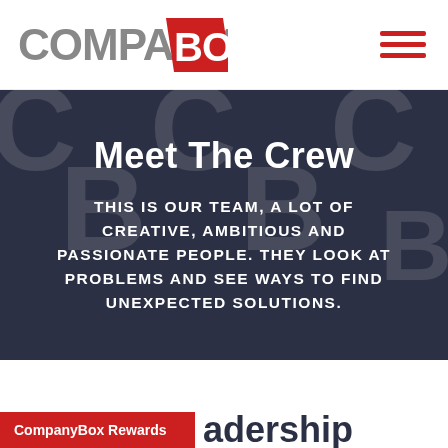[Figure (logo): CompanyBox logo with grey COMPANY text and red BOX parallelogram shape with registered trademark symbol]
[Figure (other): Hamburger menu icon — three horizontal red lines stacked vertically]
Meet The Crew
THIS IS OUR TEAM, A LOT OF CREATIVE, AMBITIOUS AND PASSIONATE PEOPLE. THEY LOOK AT PROBLEMS AND SEE WAYS TO FIND UNEXPECTED SOLUTIONS.
CompanyBox Rewards
adership